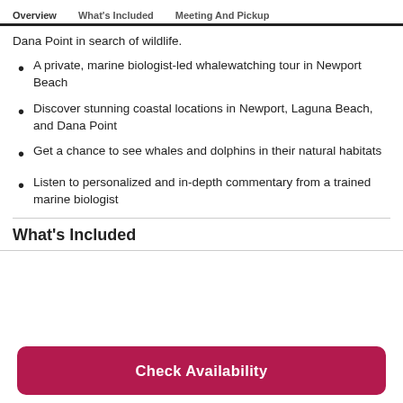Overview  What's Included  Meeting And Pickup
Dana Point in search of wildlife.
A private, marine biologist-led whalewatching tour in Newport Beach
Discover stunning coastal locations in Newport, Laguna Beach, and Dana Point
Get a chance to see whales and dolphins in their natural habitats
Listen to personalized and in-depth commentary from a trained marine biologist
What's Included
Check Availability